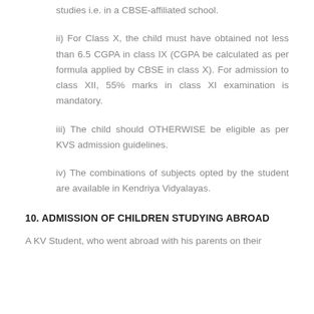studies i.e. in a CBSE-affiliated school.
ii) For Class X, the child must have obtained not less than 6.5 CGPA in class IX (CGPA be calculated as per formula applied by CBSE in class X). For admission to class XII, 55% marks in class XI examination is mandatory.
iii) The child should OTHERWISE be eligible as per KVS admission guidelines.
iv) The combinations of subjects opted by the student are available in Kendriya Vidyalayas.
10. ADMISSION OF CHILDREN STUDYING ABROAD
A KV Student, who went abroad with his parents on their